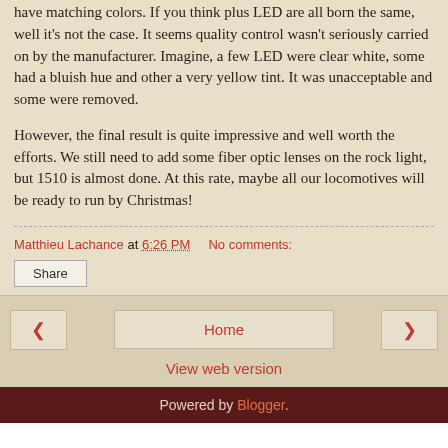have matching colors. If you think plus LED are all born the same, well it's not the case. It seems quality control wasn't seriously carried on by the manufacturer. Imagine, a few LED were clear white, some had a bluish hue and other a very yellow tint. It was unacceptable and some were removed.

However, the final result is quite impressive and well worth the efforts. We still need to add some fiber optic lenses on the rock light, but 1510 is almost done. At this rate, maybe all our locomotives will be ready to run by Christmas!
Matthieu Lachance at 6:26 PM   No comments:
Share
‹
Home
›
View web version
Powered by Blogger.